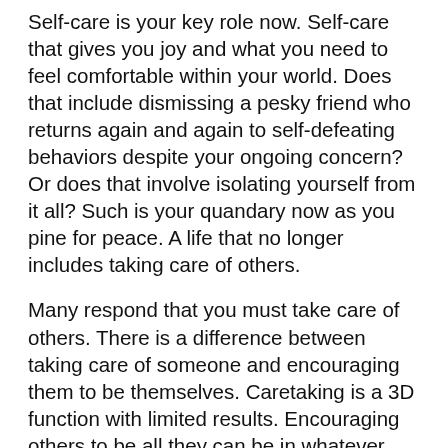Self-care is your key role now. Self-care that gives you joy and what you need to feel comfortable within your world. Does that include dismissing a pesky friend who returns again and again to self-defeating behaviors despite your ongoing concern? Or does that involve isolating yourself from it all? Such is your quandary now as you pine for peace. A life that no longer includes taking care of others.
Many respond that you must take care of others. There is a difference between taking care of someone and encouraging them to be themselves. Caretaking is a 3D function with limited results. Encouraging others to be all they can be in whatever format is "teaching them to fish."
So it is now - encourage others only IF YOU FEEL THE INNER NEED.
You no longer need to worry about others "making it" for every earth being has been exposed to and internalized those energies they wish to enhance their life. It is not your